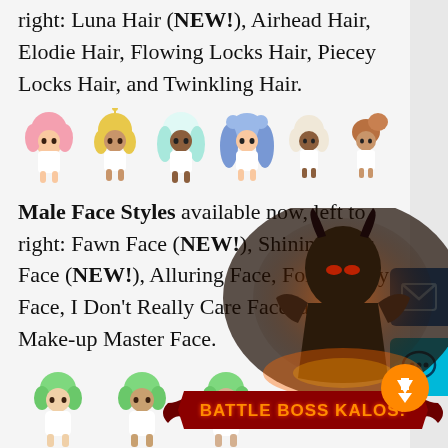right: Luna Hair (NEW!), Airhead Hair, Elodie Hair, Flowing Locks Hair, Piecey Locks Hair, and Twinkling Hair.
[Figure (illustration): Six chibi-style female character sprites with different hair styles: pink hair, blonde hair, white/teal hair, blue hair, white/blonde hair, and brown updo hair.]
Male Face Styles available now, left to right: Fawn Face (NEW!), Shining Eyes Face (NEW!), Alluring Face, Forest Fairy Face, I Don't Really Care Face, and Make-up Master Face.
[Figure (illustration): Three chibi-style male character sprites with green hair, showing different face styles.]
Female Face Styles available now, left to right: Fawn Face (NEW!), Shining Eyes Face (NEW!), Forest Fairy Face, I Don't Really
[Figure (illustration): Battle Boss Kalos promotional overlay image with dark armored boss character and banner text 'BATTLE BOSS KALOS!'. Also shows UI buttons for mail and chat on the right side.]